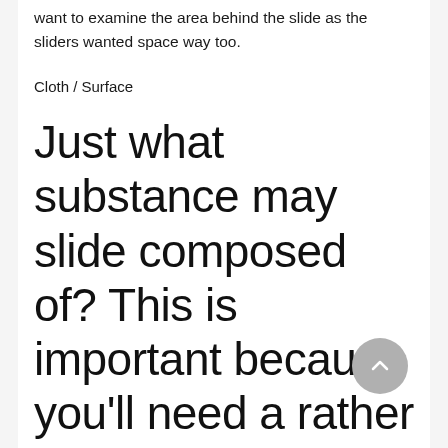want to examine the area behind the slide as the sliders wanted space way too.
Cloth / Surface
Just what substance may slide composed of? This is important because you'll need a rather long lasting product that may withstand plenty of